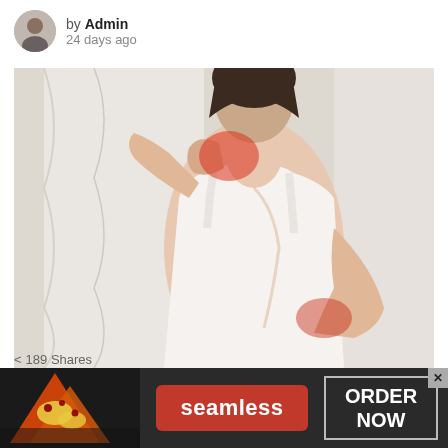by Admin 24 days ago
[Figure (photo): Woman in white tank top seen from behind, touching her neck and lower back, with red highlighted pain areas on neck and lower back]
< 189 Shares
How to Deal With Chronic Body Aches
[Figure (infographic): Seamless food delivery advertisement banner with pizza image on left, red seamless logo in center, and ORDER NOW button on right with X close button]